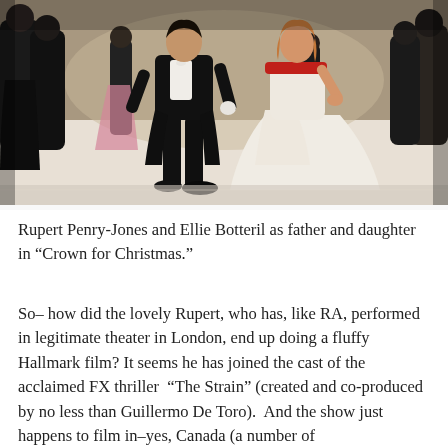[Figure (photo): A ballroom dance scene with a man in formal black tailcoat and a woman in a flowing white gown with red off-shoulder detail dancing together in the center. Other formally dressed guests stand in the background. Setting appears to be an elegant white marble ballroom.]
Rupert Penry-Jones and Ellie Botteril as father and daughter in “Crown for Christmas.”
So– how did the lovely Rupert, who has, like RA, performed in legitimate theater in London, end up doing a fluffy Hallmark film? It seems he has joined the cast of the acclaimed FX thriller “The Strain” (created and co-produced by no less than Guillermo De Toro). And the show just happens to film in–yes, Canada (a number of